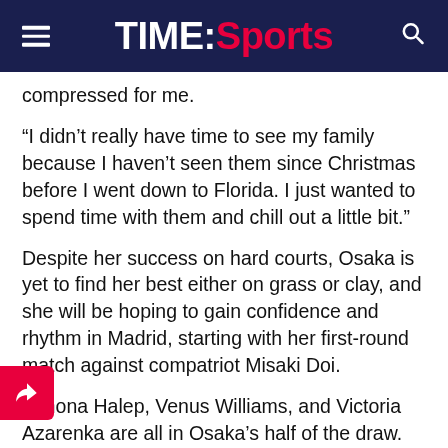TIME:Sports
compressed for me.
“I didn’t really have time to see my family because I haven’t seen them since Christmas before I went down to Florida. I just wanted to spend time with them and chill out a little bit.”
Despite her success on hard courts, Osaka is yet to find her best either on grass or clay, and she will be hoping to gain confidence and rhythm in Madrid, starting with her first-round match against compatriot Misaki Doi.
Simona Halep, Venus Williams, and Victoria Azarenka are all in Osaka’s half of the draw.
s exciting to go into the clay court swing...